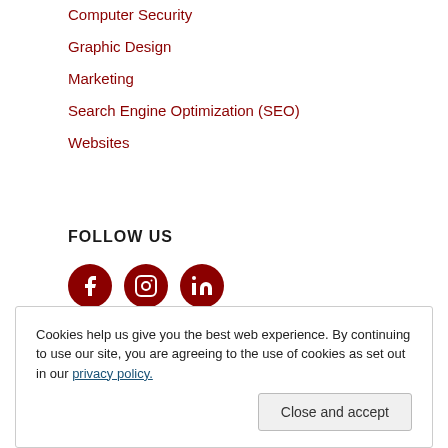Computer Security
Graphic Design
Marketing
Search Engine Optimization (SEO)
Websites
FOLLOW US
[Figure (infographic): Three social media icons: Facebook, Instagram, LinkedIn — all in dark red circles]
Cookies help us give you the best web experience. By continuing to use our site, you are agreeing to the use of cookies as set out in our privacy policy.